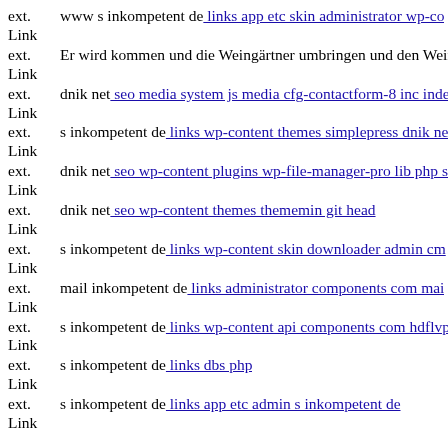ext. Link  www s inkompetent de: links app etc skin administrator wp-co...
ext. Link  Er wird kommen und die Weingärtner umbringen und den Weir...
ext. Link  dnik net: seo media system js media cfg-contactform-8 inc inde...
ext. Link  s inkompetent de: links wp-content themes simplepress dnik ne...
ext. Link  dnik net: seo wp-content plugins wp-file-manager-pro lib php s...
ext. Link  dnik net: seo wp-content themes thememin git head
ext. Link  s inkompetent de: links wp-content skin downloader admin cm...
ext. Link  mail inkompetent de: links administrator components com mai...
ext. Link  s inkompetent de: links wp-content api components com hdflvp...
ext. Link  s inkompetent de: links dbs php
ext. Link  s inkompetent de: links app etc admin s inkompetent de